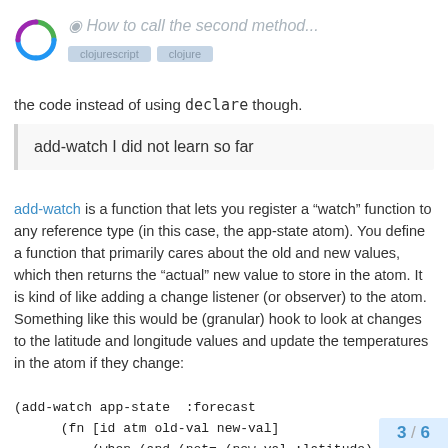How to call the second method...
the code instead of using declare though.
add-watch I did not learn so far
add-watch is a function that lets you register a “watch” function to any reference type (in this case, the app-state atom). You define a function that primarily cares about the old and new values, which then returns the “actual” new value to store in the atom. It is kind of like adding a change listener (or observer) to the atom. Something like this would be (granular) hook to look at changes to the latitude and longitude values and update the temperatures in the atom if they change:
(add-watch app-state  :forecast
      (fn [id atm old-val new-val]
          (when (and (not= (new-val :latitude) (
                    (not= (new-val :longitude)
        (get-forecast!))))
3 / 6